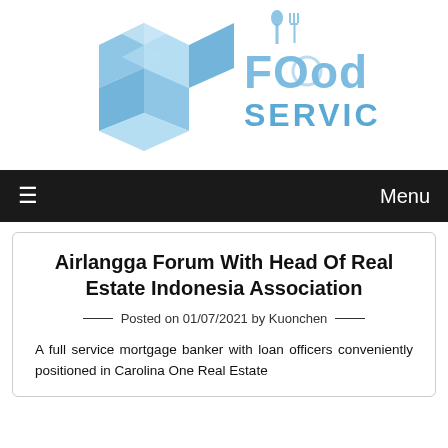[Figure (logo): Food Service logo: a blue geometric cube/hexagon shape on the left, and 'FOod SERVICE' text in light blue with a fork and spoon icon above]
≡   Menu
Airlangga Forum With Head Of Real Estate Indonesia Association
Posted on 01/07/2021 by Kuonchen
A full service mortgage banker with loan officers conveniently positioned in Carolina One Real Estate